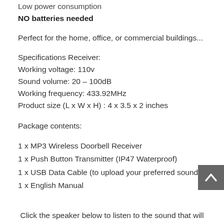Low power consumption
NO batteries needed
Perfect for the home, office, or commercial buildings...
Specifications Receiver:
Working voltage: 110v
Sound volume: 20 – 100dB
Working frequency: 433.92MHz
Product size (L x W x H) : 4 x 3.5 x 2 inches
Package contents:
1 x MP3 Wireless Doorbell Receiver
1 x Push Button Transmitter (IP47 Waterproof)
1 x USB Data Cable (to upload your preferred sounds)
1 x English Manual
Click the speaker below to listen to the sound that will